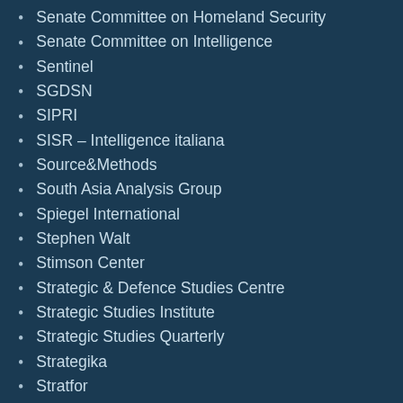Senate Committee on Homeland Security
Senate Committee on Intelligence
Sentinel
SGDSN
SIPRI
SISR – Intelligence italiana
Source&Methods
South Asia Analysis Group
Spiegel International
Stephen Walt
Stimson Center
Strategic & Defence Studies Centre
Strategic Studies Institute
Strategic Studies Quarterly
Strategika
Stratfor
Studies in Conflict & Terrorism
Terrorism and Political Violence